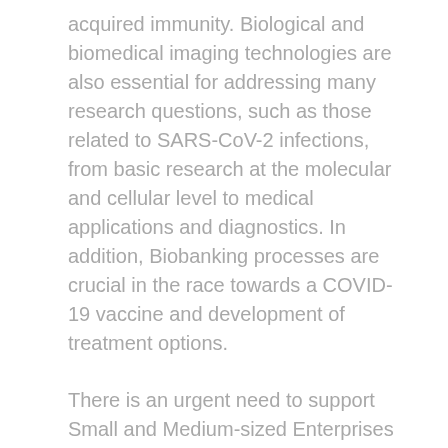acquired immunity. Biological and biomedical imaging technologies are also essential for addressing many research questions, such as those related to SARS-CoV-2 infections, from basic research at the molecular and cellular level to medical applications and diagnostics. In addition, Biobanking processes are crucial in the race towards a COVID-19 vaccine and development of treatment options.
There is an urgent need to support Small and Medium-sized Enterprises (SMEs) capable of delivering innovation projects addressing the broad range of COVID-19 related challenges.
Through DIGI-B-CUBE project, we are announcing our funding support for SMEs to fight against COVID-19 through cross-sectoral collaborative projects. DIGI-B-CUBE offers direct financial support up to